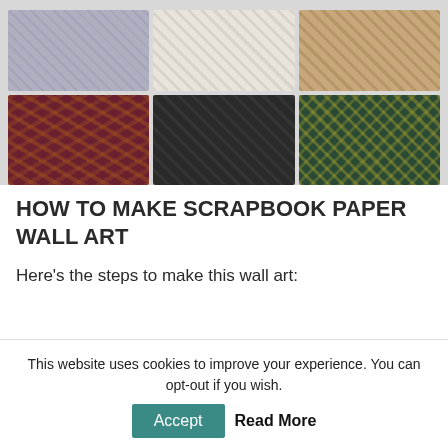[Figure (photo): A grid of six decorative scrapbook paper squares arranged in 2 rows of 3. Top row: gray/lavender pattern, cream/white damask, tan/gold damask. Bottom row: dark red/burgundy floral damask, dark gray/charcoal damask, dark green/teal damask with gold pattern.]
HOW TO MAKE SCRAPBOOK PAPER WALL ART
Here's the steps to make this wall art:
This website uses cookies to improve your experience. You can opt-out if you wish.